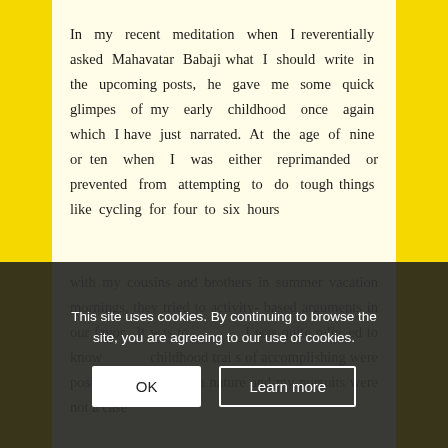In my recent meditation when I reverentially asked Mahavatar Babaji what I should write in the upcoming posts, he gave me some quick glimpes of my early childhood once again which I have just narrated. At the age of nine or ten when I was either reprimanded or prevented from attempting to do tough things like cycling for four to six hours with my cousins and brothers in summer vacation mornings, they tried to activity-based arguments in our favor. It was to... I was quite relieved to know ...childhood traits of accomplishing were positive and healthy in nature and my pursuits were not a case
This site uses cookies. By continuing to browse the site, you are agreeing to our use of cookies.